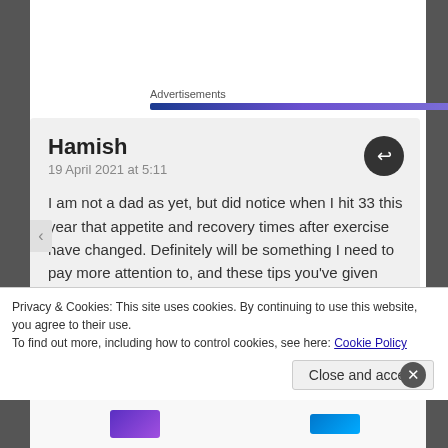Advertisements
Hamish
19 April 2021 at 5:11

I am not a dad as yet, but did notice when I hit 33 this year that appetite and recovery times after exercise have changed. Definitely will be something I need to pay more attention to, and these tips you've given here will certainly come in handy. I love
Privacy & Cookies: This site uses cookies. By continuing to use this website, you agree to their use.
To find out more, including how to control cookies, see here: Cookie Policy
Close and accept